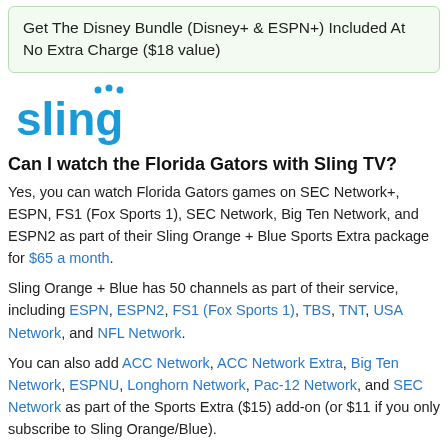Get The Disney Bundle (Disney+ & ESPN+) Included At No Extra Charge ($18 value)
[Figure (logo): Sling TV logo in blue]
Can I watch the Florida Gators with Sling TV?
Yes, you can watch Florida Gators games on SEC Network+, ESPN, FS1 (Fox Sports 1), SEC Network, Big Ten Network, and ESPN2 as part of their Sling Orange + Blue Sports Extra package for $65 a month.
Sling Orange + Blue has 50 channels as part of their service, including ESPN, ESPN2, FS1 (Fox Sports 1), TBS, TNT, USA Network, and NFL Network.
You can also add ACC Network, ACC Network Extra, Big Ten Network, ESPNU, Longhorn Network, Pac-12 Network, and SEC Network as part of the Sports Extra ($15) add-on (or $11 if you only subscribe to Sling Orange/Blue).
This is the full Sling TV Channel List.